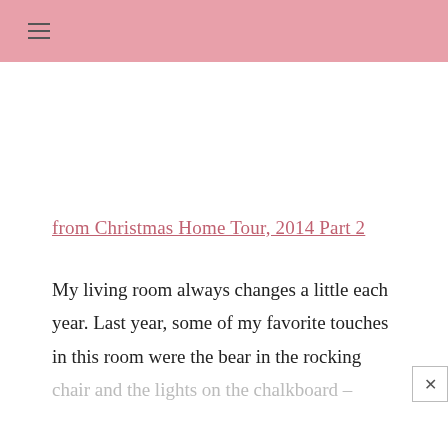≡
from Christmas Home Tour, 2014 Part 2
My living room always changes a little each year. Last year, some of my favorite touches in this room were the bear in the rocking chair and the lights on the chalkboard –